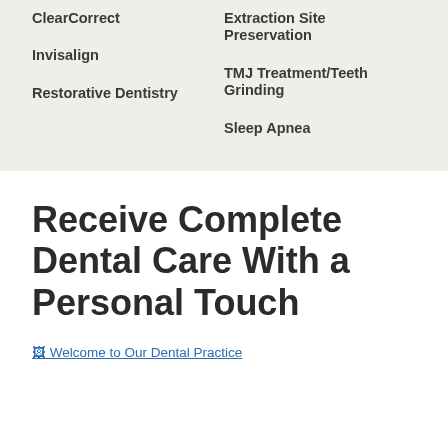ClearCorrect
Extraction Site Preservation
Invisalign
TMJ Treatment/Teeth Grinding
Restorative Dentistry
Sleep Apnea
Receive Complete Dental Care With a Personal Touch
[Figure (photo): Welcome to Our Dental Practice - linked image]